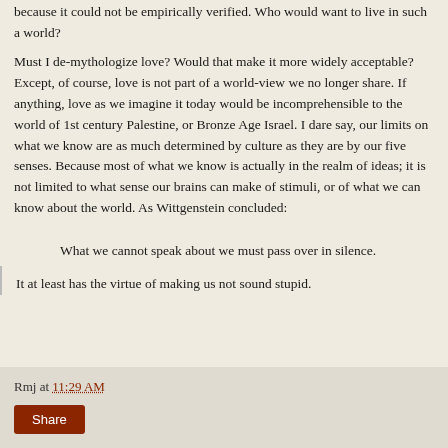because it could not be empirically verified.  Who would want to live in such a world?
Must I de-mythologize love?  Would that make it more widely acceptable?  Except, of course, love is not part of a world-view we no longer share.  If anything, love as we imagine it today would be incomprehensible to the world of 1st century Palestine, or Bronze Age Israel.  I dare say, our limits on what we know are as much determined by culture as they are by our five senses.  Because most of what we know is actually in the realm of ideas; it is not limited to what sense our brains can make of stimuli, or of what we can know about the world.  As Wittgenstein concluded:
What we cannot speak about we must pass over in silence.
It at least has the virtue of making us not sound stupid.
Rmj at 11:29 AM
Share